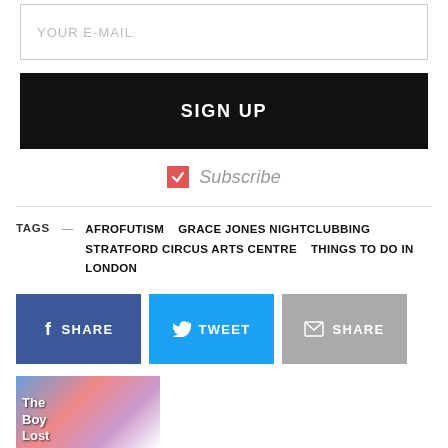YOUR E-MAIL
SIGN UP
Subscribe
TAGS — AFROFUTISM   GRACE JONES NIGHTCLUBBING   STRATFORD CIRCUS ARTS CENTRE   THINGS TO DO IN LONDON
f SHARE
TWEET
SHARE
[Figure (photo): Book cover showing 'The Boy Lost' with illustrated figures]